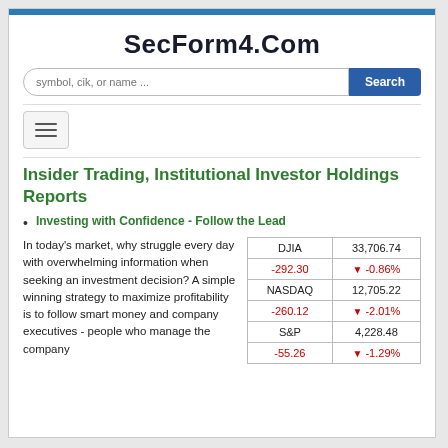SecForm4.Com
Insider Trading, Institutional Investor Holdings Reports
Investing with Confidence - Follow the Lead
In today's market, why struggle every day with overwhelming information when seeking an investment decision? A simple winning strategy to maximize profitability is to follow smart money and company executives - people who manage the company
| Index | Value |
| --- | --- |
| DJIA | 33,706.74 |
| -292.30 | ↓ -0.86% |
| NASDAQ | 12,705.22 |
| -260.12 | ↓ -2.01% |
| S&P | 4,228.48 |
| -55.26 | ↓ -1.29% |